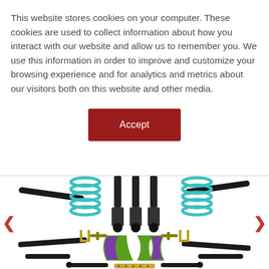This website stores cookies on your computer. These cookies are used to collect information about how you interact with our website and allow us to remember you. We use this information in order to improve and customize your browsing experience and for analytics and metrics about our visitors both on this website and other media.
[Figure (other): Accept button - a dark red/maroon rectangular button with white text reading 'Accept']
[Figure (photo): Automotive suspension kit product image showing coil springs (teal/green), shock absorbers (black), control arms (black rods), brackets (green/purple painted), bump stops, and other suspension components laid out on a white background. Navigation arrows (red < and >) visible on left and right sides.]